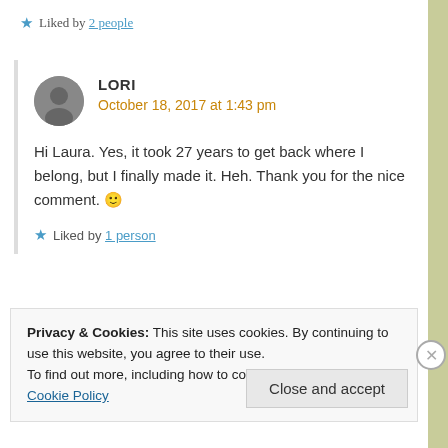★ Liked by 2 people
LORI
October 18, 2017 at 1:43 pm
Hi Laura. Yes, it took 27 years to get back where I belong, but I finally made it. Heh. Thank you for the nice comment. 🙂
★ Liked by 1 person
Privacy & Cookies: This site uses cookies. By continuing to use this website, you agree to their use.
To find out more, including how to control cookies, see here: Cookie Policy
Close and accept